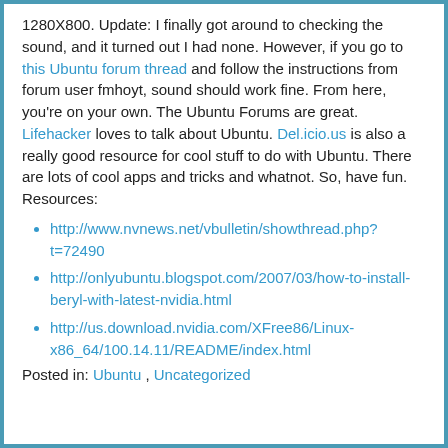1280X800. Update: I finally got around to checking the sound, and it turned out I had none. However, if you go to this Ubuntu forum thread and follow the instructions from forum user fmhoyt, sound should work fine. From here, you're on your own. The Ubuntu Forums are great. Lifehacker loves to talk about Ubuntu. Del.icio.us is also a really good resource for cool stuff to do with Ubuntu. There are lots of cool apps and tricks and whatnot. So, have fun. Resources:
http://www.nvnews.net/vbulletin/showthread.php?t=72490
http://onlyubuntu.blogspot.com/2007/03/how-to-install-beryl-with-latest-nvidia.html
http://us.download.nvidia.com/XFree86/Linux-x86_64/100.14.11/README/index.html
Posted in: Ubuntu , Uncategorized